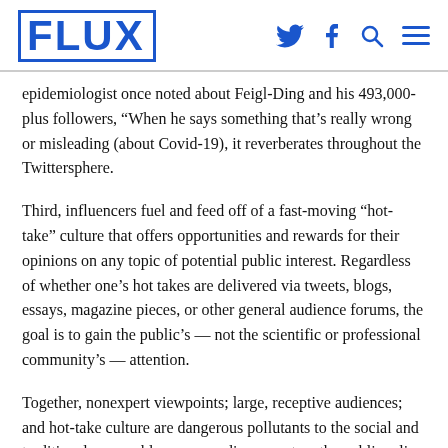FLUX
epidemiologist once noted about Feigl-Ding and his 493,000-plus followers, “When he says something that’s really wrong or misleading (about Covid-19), it reverberates throughout the Twittersphere.
Third, influencers fuel and feed off of a fast-moving “hot-take” culture that offers opportunities and rewards for their opinions on any topic of potential public interest. Regardless of whether one’s hot takes are delivered via tweets, blogs, essays, magazine pieces, or other general audience forums, the goal is to gain the public’s — not the scientific or professional community’s — attention.
Together, nonexpert viewpoints; large, receptive audiences; and hot-take culture are dangerous pollutants to the social and traditional, e.g., cable news, media ecosystem the public relies on for information. Because influencers offer their viewpoints for broad, general audiences, any subsequent public recognition of their ideas